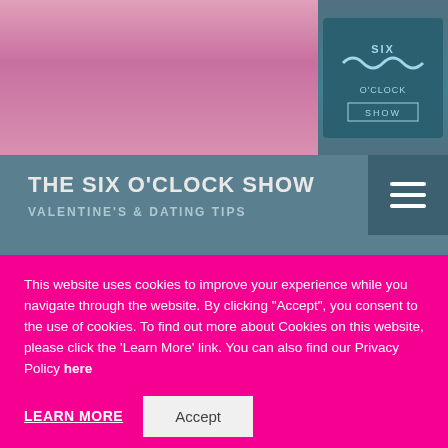[Figure (photo): Photo of TV show hosts on the left, teal show logo on the right]
THE SIX O'CLOCK SHOW
VALENTINE'S & DATING TIPS
INTRO's Feargal discusses Valentine's, why dating apps aren't all they're cracked up to be and general dating tips, on Virgin Media's Six O'clock Show.
This website uses cookies to improve your experience while you navigate through the website. By clicking “Accept”, you consent to the use of cookies. To find out more about Cookies on this website, please click the 'Learn More' link. You can also find our Privacy Policy here
LEARN MORE
Accept